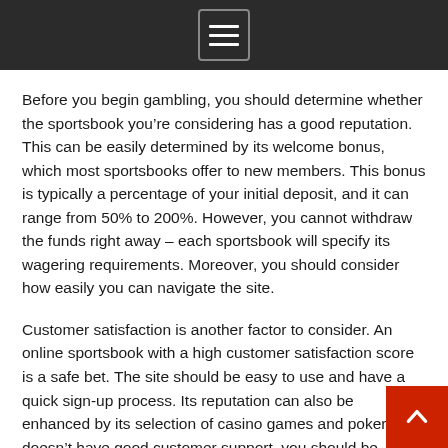[Navigation menu icon]
Before you begin gambling, you should determine whether the sportsbook you’re considering has a good reputation. This can be easily determined by its welcome bonus, which most sportsbooks offer to new members. This bonus is typically a percentage of your initial deposit, and it can range from 50% to 200%. However, you cannot withdraw the funds right away – each sportsbook will specify its wagering requirements. Moreover, you should consider how easily you can navigate the site.
Customer satisfaction is another factor to consider. An online sportsbook with a high customer satisfaction score is a safe bet. The site should be easy to use and have a quick sign-up process. Its reputation can also be enhanced by its selection of casino games and poker. If it doesn’t have good customer support, you should be careful. Nonetheless, you can choose an online sportsbook with a poor reputation